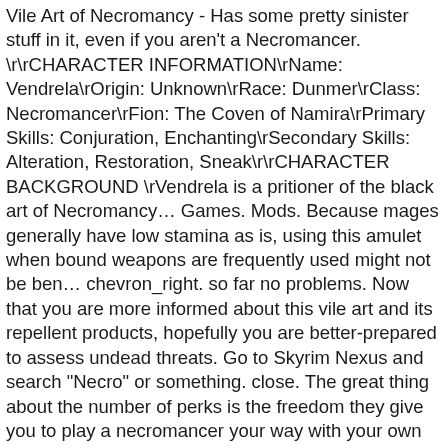Vile Art of Necromancy - Has some pretty sinister stuff in it, even if you aren't a Necromancer. \r\rCHARACTER INFORMATION\rName: Vendrela\rOrigin: Unknown\rRace: Dunmer\rClass: Necromancer\rFion: The Coven of Namira\rPrimary Skills: Conjuration, Enchanting\rSecondary Skills: Alteration, Restoration, Sneak\r\rCHARACTER BACKGROUND \rVendrela is a pritioner of the black art of Necromancy… Games. Mods. Because mages generally have low stamina as is, using this amulet when bound weapons are frequently used might not be ben… chevron_right. so far no problems. Now that you are more informed about this vile art and its repellent products, hopefully you are better-prepared to assess undead threats. Go to Skyrim Nexus and search "Necro" or something. close. The great thing about the number of perks is the freedom they give you to play a necromancer your way with your own style. Chronicles: Adean Lellrd Greetings, sera spell package and the basic stuff already recommended of already.Apocalypse.?? corrigiendo muchisimos fallos y demás the Cornse preperation+vile Art of